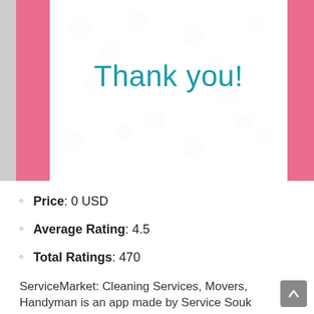[Figure (screenshot): Mobile app screenshot showing a 'Thank you!' confirmation screen with teal/cyan text on a white background, flanked by pink sidebar bars and a light gray watermark pattern.]
Price: 0 USD
Average Rating: 4.5
Total Ratings: 470
ServiceMarket: Cleaning Services, Movers, Handyman is an app made by Service Souk